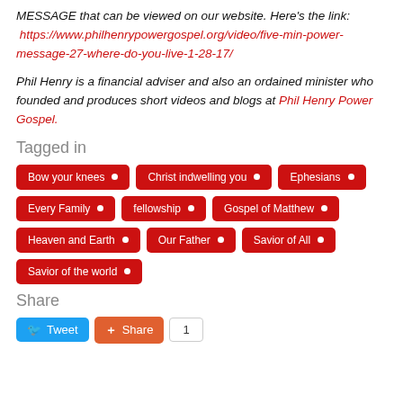MESSAGE that can be viewed on our website. Here's the link: https://www.philhenrypowergospel.org/video/five-min-power-message-27-where-do-you-live-1-28-17/
Phil Henry is a financial adviser and also an ordained minister who founded and produces short videos and blogs at Phil Henry Power Gospel.
Tagged in
Bow your knees
Christ indwelling you
Ephesians
Every Family
fellowship
Gospel of Matthew
Heaven and Earth
Our Father
Savior of All
Savior of the world
Share
Tweet | Share | 1